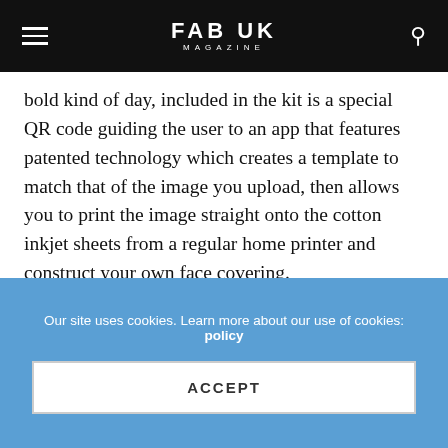FAB UK MAGAZINE
bold kind of day, included in the kit is a special QR code guiding the user to an app that features patented technology which creates a template to match that of the image you upload, then allows you to print the image straight onto the cotton inkjet sheets from a regular home printer and construct your own face covering.
The easy-to-follow video tutorial will have you crafting custom masks in minutes! The kit includes inkjet printable, breathable, 100% cotton sheets with filtration fabric inserts, elasticated ear loops, comfort fit adjustable nose bands and iron-on web adhesive. Users require a device running iOS 13 or Android 9 and above, in order to access their own images and print the
Our site uses cookies. Learn more about our use of cookies: policy
ACCEPT